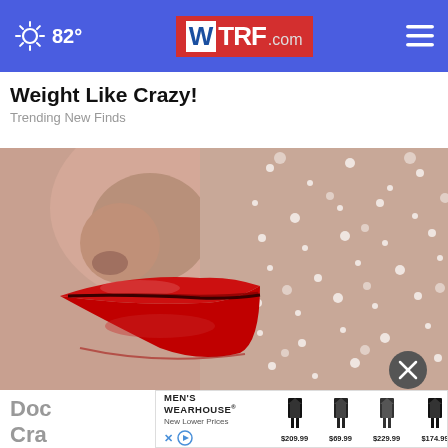82° WTRF.com
Weight Like Crazy!
Trending New Finds
[Figure (photo): Close-up photo of a person's face showing red lips with bold red lipstick and glittery/sparkly skin texture on cheek]
Doc Cra
[Figure (infographic): Men's Wearhouse advertisement banner with suit images priced at $209.99, $69.99, $229.99, $174.99]